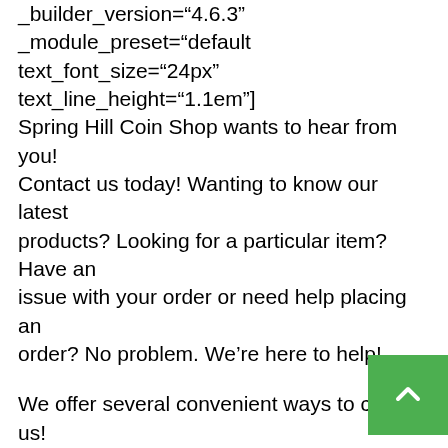_builder_version="4.6.3" _module_preset="default" text_font_size="24px" text_line_height="1.1em"] Spring Hill Coin Shop wants to hear from you! Contact us today! Wanting to know our latest products? Looking for a particular item? Have an issue with your order or need help placing an order? No problem. We're here to help!
We offer several convenient ways to contact us! Like, Share, or Follow us on social media. Use our Text to Chat feature in the lower right hand corner. Call us. Email us.
[/et_pb_text][/et_pb_column][/et_pb_row] [et_pb_row _builder_version="4.6.3" _module_preset="default"][et_pb_column type="4_4" _builder_version="4.6.3" _module_preset="default"][et_pb_divider _builder_version="4.6.3" _module_preset="defau… [/et_pb_divider][/et_pb_column][/et_pb_row] [/et_pb_section][/et_pb_section_f_builder_id"1"…